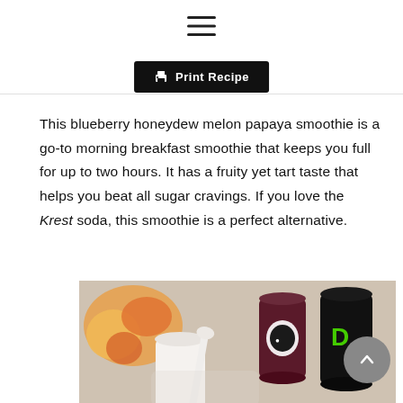☰ (hamburger menu icon)
🖨 Print Recipe
This blueberry honeydew melon papaya smoothie is a go-to morning breakfast smoothie that keeps you full for up to two hours. It has a fruity yet tart taste that helps you beat all sugar cravings. If you love the Krest soda, this smoothie is a perfect alternative.
[Figure (photo): Photo of smoothie ingredients on a countertop: a cup of white liquid/smoothie, a white spoon, assorted fruits in a bowl in the background, and two cans (one dark with a logo, one black with green D/DO branding) behind.]